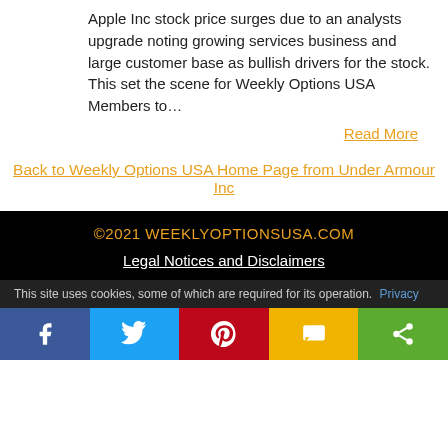Apple Inc stock price surges due to an analysts upgrade noting growing services business and large customer base as bullish drivers for the stock. This set the scene for Weekly Options USA Members to…
Read More
Back to Weekly Options USA Home Page from Under Armour Inc
©2021 WEEKLYOPTIONSUSA.COM
Legal Notices and Disclaimers
This site uses cookies, some of which are required for its operation. Privacy